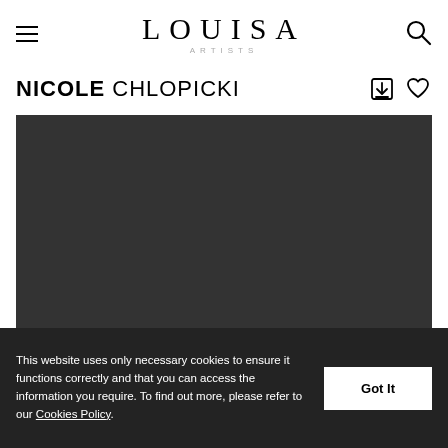LOUISA ARTISTS
NICOLE CHLOPICKI
[Figure (photo): Dark/black full-width photo placeholder for Nicole Chlopicki artist profile]
This website uses only necessary cookies to ensure it functions correctly and that you can access the information you require. To find out more, please refer to our Cookies Policy.